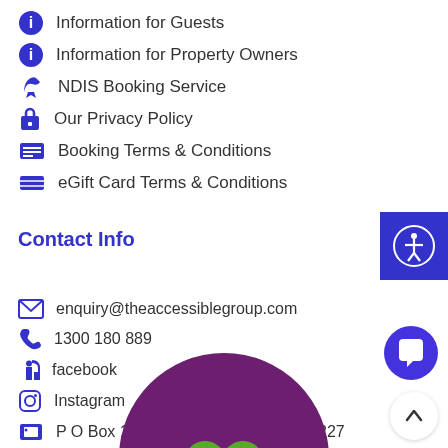Information for Guests
Information for Property Owners
NDIS Booking Service
Our Privacy Policy
Booking Terms & Conditions
eGift Card Terms & Conditions
Contact Info
enquiry@theaccessiblegroup.com
1300 180 889
facebook
Instagram
P O Box 1328, Barwon Heads, VIC 3227
[Figure (logo): Purple circle with green heart logo at bottom of page]
[Figure (illustration): Blue square accessibility icon button (top right)]
[Figure (illustration): Blue circle chat button (bottom right)]
[Figure (illustration): White circle up arrow button (bottom right)]